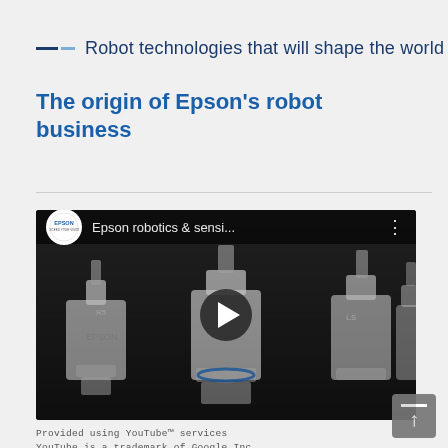Robot technologies that will shape the world
The origin of Epson's robot business
[Figure (screenshot): YouTube video thumbnail showing Epson robotics SCARA robots on a dark background, with YouTube-style top bar showing Epson logo, title 'Epson robotics & sensi...' and a play button overlay]
Provided using YouTube™ services
YouTube is a trademark of Google Inc.